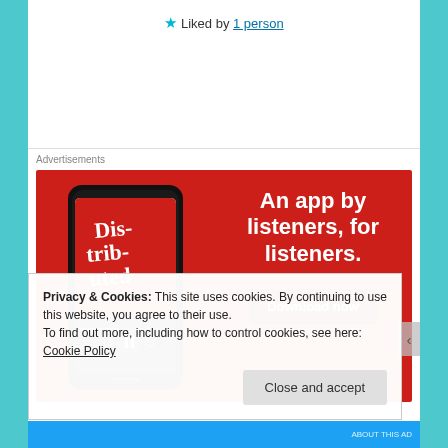★ Liked by 1 person
Advertisements
[Figure (illustration): Red advertisement banner for a podcast app. Shows a smartphone displaying a podcast episode called 'Distributed' with playback controls. Text reads: 'An app by listeners, for listeners.' with a 'Download now' button.]
Privacy & Cookies: This site uses cookies. By continuing to use this website, you agree to their use.
To find out more, including how to control cookies, see here: Cookie Policy
Close and accept